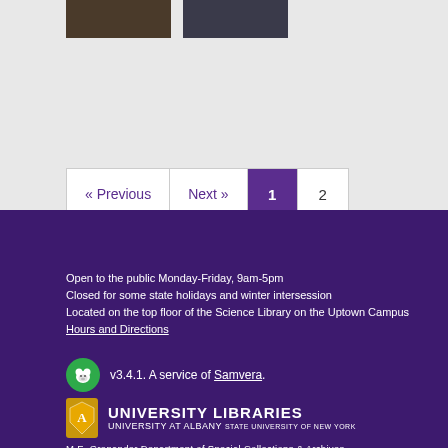[Figure (photo): Two thumbnail images of archival/historical photographs shown at the top of the page on a gray background]
« Previous  Next »  1  2
Open to the public Monday-Friday, 9am-5pm
Closed for some state holidays and winter intersession
Located on the top floor of the Science Library on the Uptown Campus
Hours and Directions
v3.4.1. A service of Samvera.
[Figure (logo): University Libraries, University at Albany, State University of New York logo with shield icon]
M.E. Grenander Department of Special Collections & Archives